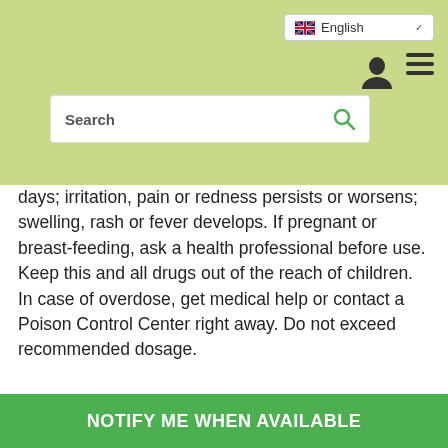[Figure (screenshot): Website header with green background, language selector showing English with UK flag, user icon, hamburger menu icon, and search box with magnifying glass icon]
days; irritation, pain or redness persists or worsens; swelling, rash or fever develops. If pregnant or breast-feeding, ask a health professional before use. Keep this and all drugs out of the reach of children. In case of overdose, get medical help or contact a Poison Control Center right away. Do not exceed recommended dosage.
California Proposition 65 WARNING
Some products on this website contains progesterone, a chemical known to the State of California to
t.